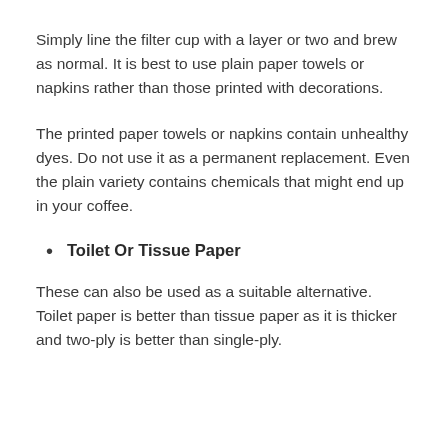Simply line the filter cup with a layer or two and brew as normal. It is best to use plain paper towels or napkins rather than those printed with decorations.
The printed paper towels or napkins contain unhealthy dyes. Do not use it as a permanent replacement. Even the plain variety contains chemicals that might end up in your coffee.
Toilet Or Tissue Paper
These can also be used as a suitable alternative. Toilet paper is better than tissue paper as it is thicker and two-ply is better than single-ply.